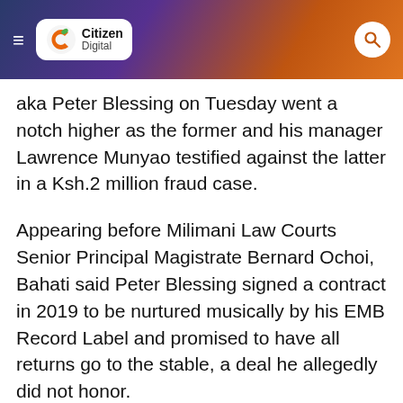Citizen Digital
aka Peter Blessing on Tuesday went a notch higher as the former and his manager Lawrence Munyao testified against the latter in a Ksh.2 million fraud case.
Appearing before Milimani Law Courts Senior Principal Magistrate Bernard Ochoi, Bahati said Peter Blessing signed a contract in 2019 to be nurtured musically by his EMB Record Label and promised to have all returns go to the stable, a deal he allegedly did not honor.
Bahati told the court that after taking care of all music and basic needs of the accused person, he